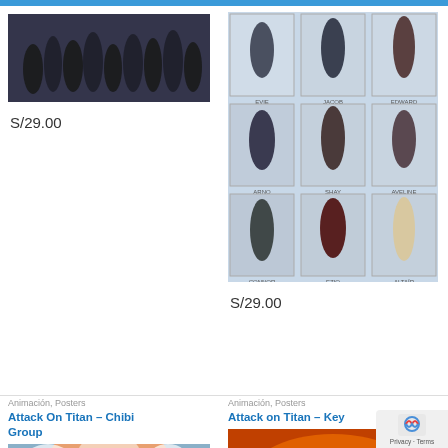[Figure (photo): Assassin's Creed group poster showing multiple characters in dark clothing]
S/29.00
[Figure (photo): Assassin's Creed character grid poster showing 9 characters: Evie, Jacob, Edward, Arno, Elise, Aveline, Connor, Ezio, Altair]
S/29.00
Animación, Posters
Attack On Titan – Chibi Group
Animación, Posters
Attack on Titan – Key
[Figure (photo): Attack on Titan Chibi Group poster showing a large titan face]
[Figure (photo): Attack on Titan Key art poster with dramatic fire and titan silhouette]